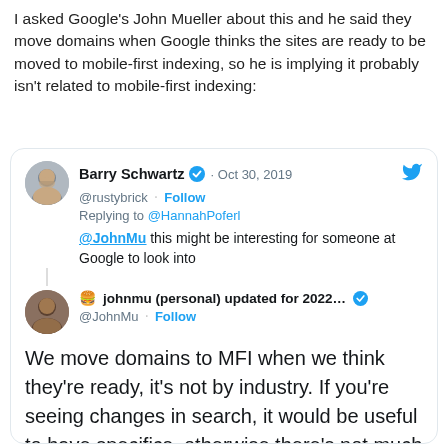I asked Google's John Mueller about this and he said they move domains when Google thinks the sites are ready to be moved to mobile-first indexing, so he is implying it probably isn't related to mobile-first indexing:
[Figure (screenshot): Embedded tweet from Barry Schwartz (@rustybrick) dated Oct 30, 2019 replying to @HannahPoferl saying '@JohnMu this might be interesting for someone at Google to look into', followed by a reply from johnmu (personal) updated for 2022... (@JohnMu) saying 'We move domains to MFI when we think they're ready, it's not by industry. If you're seeing changes in search, it would be useful to have specifics, otherwise there's not much I can do :).' timestamped 12:03 PM · Oct 30, 2019.]